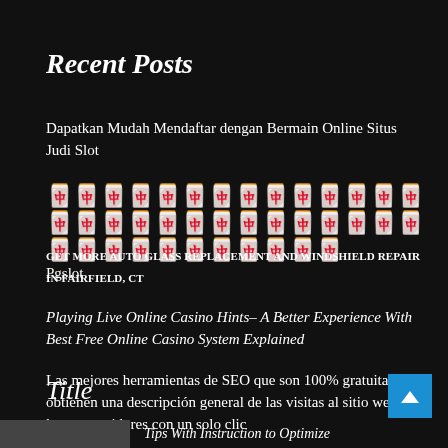Recent Posts
Dapatkan Mudah Mendaftar dengan Bermain Online Situs Judi Slot
🀄🀄🀄🀄🀄🀄🀄🀄🀄🀄🀄🀄🀄🀄🀄🀄🀄🀄🀄🀄🀄🀄🀄🀄🀄🀄🀄🀄🀄🀄🀄🀄🀄🀄🀄🀄🀄🀄🀄 Pgslot
GET MORE AUTO GLASS REPLACEMENT AND WINDSHIELD REPAIR IN FAIRFIELD, CT
Playing Live Online Casino Hints– A Better Experience With Best Free Online Casino System Explained
Las mejores herramientas de SEO que son 100% gratuitas y obtienen una descripción general de las visitas al sitio web de los competidores con un solo clic
Title
Tips With Instruction to Optimize